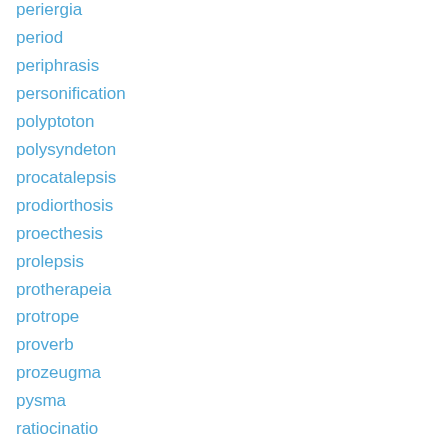periergia
period
periphrasis
personification
polyptoton
polysyndeton
procatalepsis
prodiorthosis
proecthesis
prolepsis
protherapeia
protrope
proverb
prozeugma
pysma
ratiocinatio
repotia
restrictio
sarcasmus
scesis onomaton